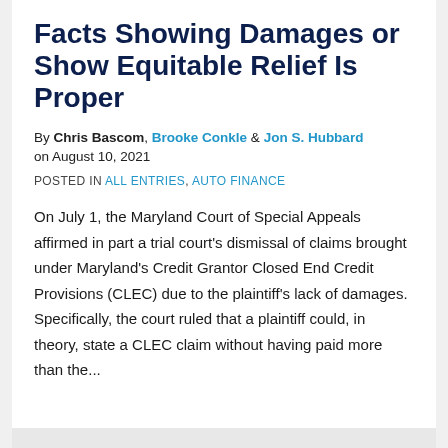Facts Showing Damages or Show Equitable Relief Is Proper
By Chris Bascom, Brooke Conkle & Jon S. Hubbard on August 10, 2021
POSTED IN ALL ENTRIES, AUTO FINANCE
On July 1, the Maryland Court of Special Appeals affirmed in part a trial court's dismissal of claims brought under Maryland's Credit Grantor Closed End Credit Provisions (CLEC) due to the plaintiff's lack of damages. Specifically, the court ruled that a plaintiff could, in theory, state a CLEC claim without having paid more than the...